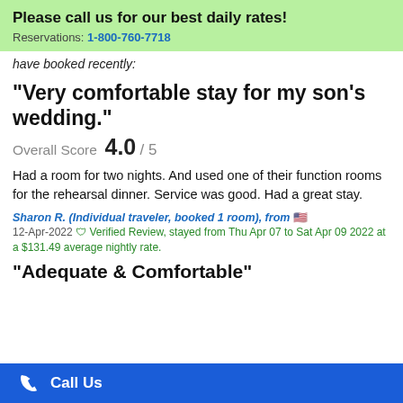Please call us for our best daily rates! Reservations: 1-800-760-7718
have booked recently:
"Very comfortable stay for my son's wedding."
Overall Score 4.0 / 5
Had a room for two nights. And used one of their function rooms for the rehearsal dinner. Service was good. Had a great stay.
Sharon R. (Individual traveler, booked 1 room), from 🇺🇸
12-Apr-2022 ✅ Verified Review, stayed from Thu Apr 07 to Sat Apr 09 2022 at a $131.49 average nightly rate.
"Adequate & Comfortable"
Call Us